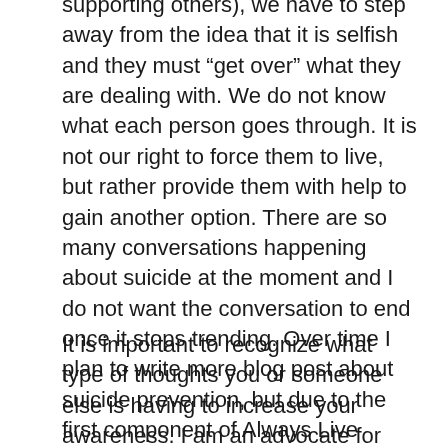supporting others), we have to step away from the idea that it is selfish and they must “get over” what they are dealing with. We do not know what each person goes through. It is not our right to force them to live, but rather provide them with help to gain another option. There are so many conversations happening about suicide at the moment and I do not want the conversation to end once it stops trending. Over time I plan to write more blog post about suicide prevention, but due to the first component of Always Live Lovely being to THINK, let’s start by talking about thoughts. A lot of what we experience mental health wise comes from our thoughts, the brain.
It is important to recognize what type of thoughts you or someone else is having to increase your awareness. I am an advocate for believing that self awareness is one of the major keys. Identifying these thoughts in particular can be scary. Nobody wants to look at what they